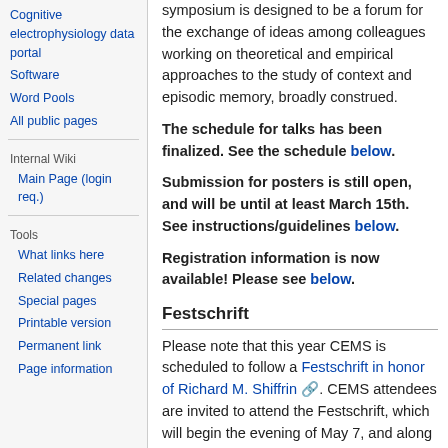Cognitive electrophysiology data portal
Software
Word Pools
All public pages
Internal Wiki
Main Page (login req.)
Tools
What links here
Related changes
Special pages
Printable version
Permanent link
Page information
symposium is designed to be a forum for the exchange of ideas among colleagues working on theoretical and empirical approaches to the study of context and episodic memory, broadly construed.
The schedule for talks has been finalized. See the schedule below.
Submission for posters is still open, and will be until at least March 15th. See instructions/guidelines below.
Registration information is now available! Please see below.
Festschrift
Please note that this year CEMS is scheduled to follow a Festschrift in honor of Richard M. Shiffrin. CEMS attendees are invited to attend the Festschrift, which will begin the evening of May 7, and along with the ...